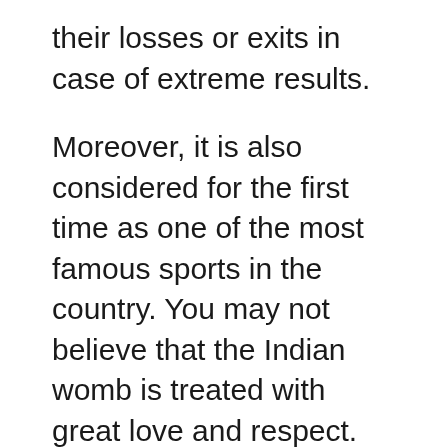their losses or exits in case of extreme results.
Moreover, it is also considered for the first time as one of the most famous sports in the country. You may not believe that the Indian womb is treated with great love and respect. Informed sources told BusinessLine that elections for the UP and Punjab states will be staged in February and March, but bookmakers began accepting bets this week.
The widower Ramesh leads a